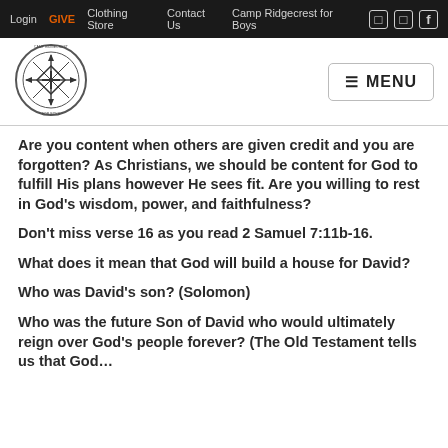Login | GIVE | Clothing Store | Contact Us | Camp Ridgecrest for Boys
[Figure (logo): Circular camp logo with compass rose and text around border]
Are you content when others are given credit and you are forgotten? As Christians, we should be content for God to fulfill His plans however He sees fit. Are you willing to rest in God's wisdom, power, and faithfulness?
Don't miss verse 16 as you read 2 Samuel 7:11b-16.
What does it mean that God will build a house for David?
Who was David's son? (Solomon)
Who was the future Son of David who would ultimately reign over God's people forever? (The Old Testament tells us that God…